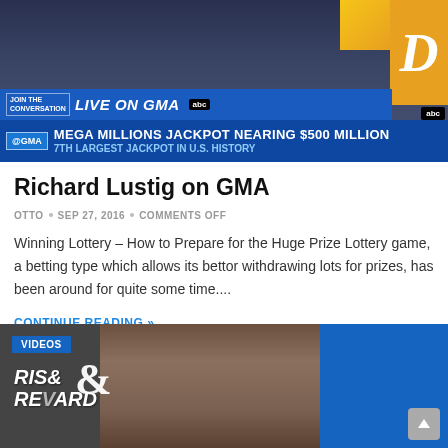[Figure (screenshot): GMA (Good Morning America) TV broadcast screenshot showing LIVE ON GMA ticker and news banner: MEGA MILLIONS JACKPOT NEARING $500 MILLION - 7th LARGEST JACKPOT IN U.S. HISTORY]
Richard Lustig on GMA
OTTO • SEP 27, 2016 • COMMENTS OFF
Winning Lottery – How to Prepare for the Huge Prize Lottery game, a betting type which allows its bettor withdrawing lots for prizes, has been around for quite some time....
CONTINUE READING »
[Figure (screenshot): Video thumbnail with VIDEOS badge showing a man gesturing, with Risk & Reward TV show logo visible, blue and red studio background]